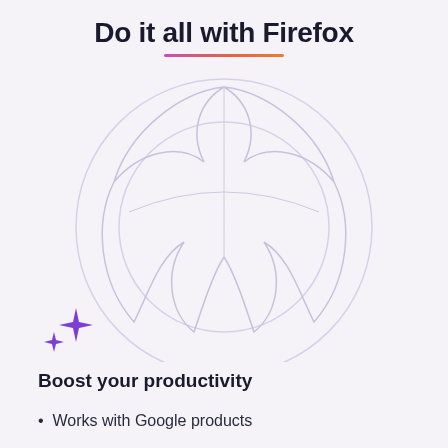Do it all with Firefox
[Figure (illustration): Firefox browser logo outline — a large circular flame/fox shape rendered in light lavender/purple outlines on a light purple-gray background]
[Figure (illustration): Purple sparkle/star icon with two four-pointed stars of different sizes]
Boost your productivity
Works with Google products